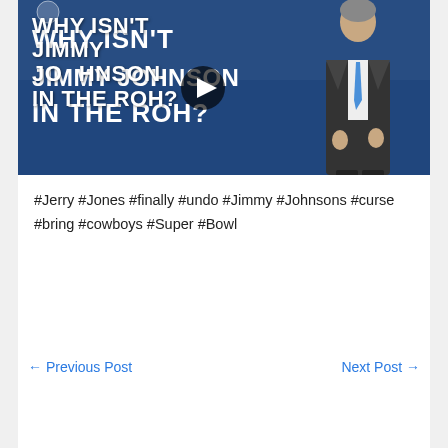[Figure (screenshot): Video thumbnail showing text 'WHY ISN'T JIMMY JOHNSON IN THE ROH?' with a man in a dark suit and blue tie on a blue background, with a play button icon overlay]
#Jerry #Jones #finally #undo #Jimmy #Johnsons #curse #bring #cowboys #Super #Bowl
← Previous Post
Next Post →